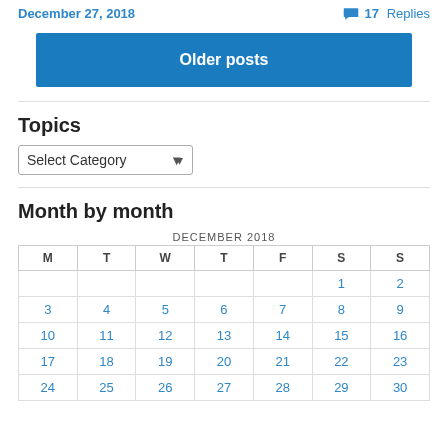December 27, 2018 | 17 Replies
Older posts
Topics
Select Category
Month by month
| M | T | W | T | F | S | S |
| --- | --- | --- | --- | --- | --- | --- |
|  |  |  |  |  | 1 | 2 |
| 3 | 4 | 5 | 6 | 7 | 8 | 9 |
| 10 | 11 | 12 | 13 | 14 | 15 | 16 |
| 17 | 18 | 19 | 20 | 21 | 22 | 23 |
| 24 | 25 | 26 | 27 | 28 | 29 | 30 |